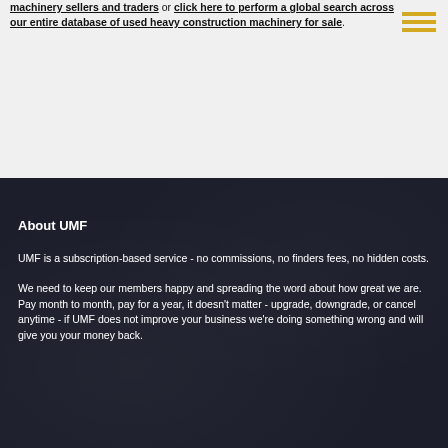machinery sellers and traders or click here to perform a global search across our entire database of used heavy construction machinery for sale.
[Figure (other): Hamburger menu icon with three horizontal yellow/gold lines]
About UMF
UMF is a subscription-based service - no commissions, no finders fees, no hidden costs.
We need to keep our members happy and spreading the word about how great we are. Pay month to month, pay for a year, it doesn't matter - upgrade, downgrade, or cancel anytime - if UMF does not improve your business we're doing something wrong and will give you your money back.